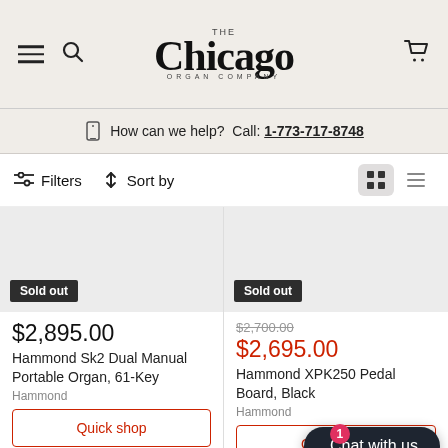The Chicago Organ Company
How can we help? Call: 1-773-717-8748
Filters   Sort by
[Figure (screenshot): Product image placeholder for Hammond Sk2, sold out badge]
Sold out
$2,895.00
Hammond Sk2 Dual Manual Portable Organ, 61-Key
Hammond
Quick shop
[Figure (screenshot): Product image placeholder for Hammond XPK250, sold out badge]
Sold out
$2,700.00
$2,695.00
Hammond XPK250 Pedal Board, Black
Hammond
Quick shop
Chat with us